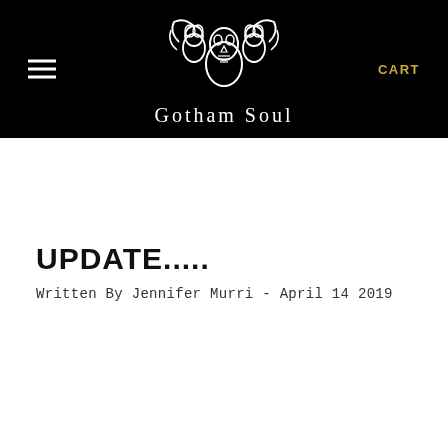[Figure (logo): Gotham Soul logo: stylized skull/mask figure with wings in white on black background, with text 'Gotham Soul' below in white serif font]
UPDATE.....
Written By Jennifer Murri - April 14 2019